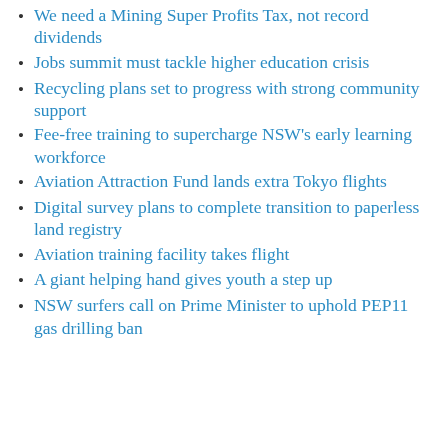We need a Mining Super Profits Tax, not record dividends
Jobs summit must tackle higher education crisis
Recycling plans set to progress with strong community support
Fee-free training to supercharge NSW's early learning workforce
Aviation Attraction Fund lands extra Tokyo flights
Digital survey plans to complete transition to paperless land registry
Aviation training facility takes flight
A giant helping hand gives youth a step up
NSW surfers call on Prime Minister to uphold PEP11 gas drilling ban